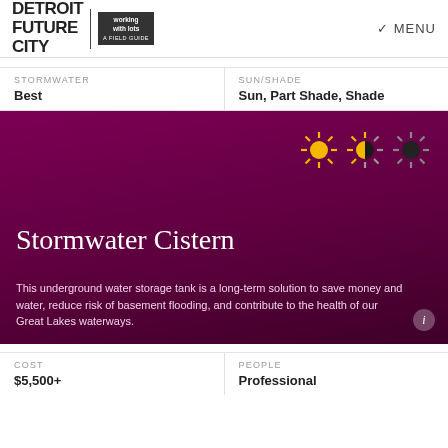DETROIT FUTURE CITY | working with lots A FIELD GUIDE | MENU
STORMWATER
Best
SUN/SHADE
Sun, Part Shade, Shade
[Figure (illustration): Dark magenta/purple hero banner with three sun icons (full sun, part shade, shade) in top right. Title: Stormwater Cistern. Description text below. Info button bottom right.]
Stormwater Cistern
This underground water storage tank is a long-term solution to save money and water, reduce risk of basement flooding, and contribute to the health of our Great Lakes waterways.
COST
$5,500+
PEOPLE
Professional